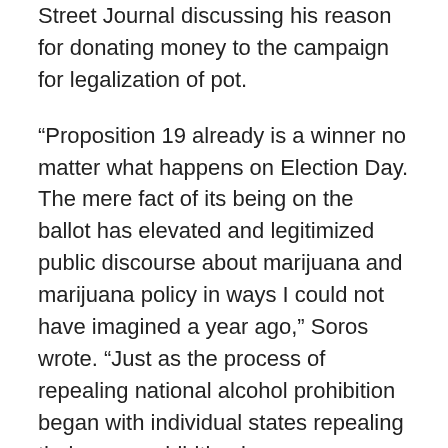Street Journal discussing his reason for donating money to the campaign for legalization of pot.
“Proposition 19 already is a winner no matter what happens on Election Day. The mere fact of its being on the ballot has elevated and legitimized public discourse about marijuana and marijuana policy in ways I could not have imagined a year ago,” Soros wrote. “Just as the process of repealing national alcohol prohibition began with individual states repealing their own prohibition laws, so individual states must now take the initiative with respect to repealing marijuana prohibition laws.”
Those who favor legalization claim tax-revenue funds would be used to combat minor marijuana crime and allow law enforcement to focus on serious crimes. Another claim proponents are touting are the billions in tax revenue that would be generated from the sale of pot.